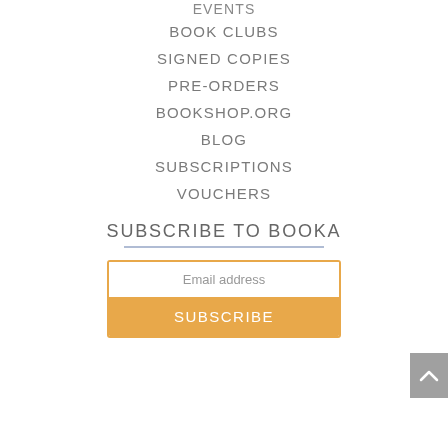EVENTS
BOOK CLUBS
SIGNED COPIES
PRE-ORDERS
BOOKSHOP.ORG
BLOG
SUBSCRIPTIONS
VOUCHERS
SUBSCRIBE TO BOOKA
Email address
SUBSCRIBE